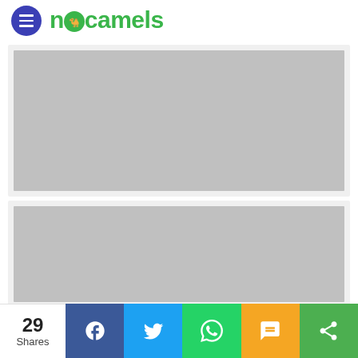nocamels
[Figure (other): Gray placeholder image block 1]
[Figure (other): Gray placeholder image block 2]
29 Shares | Facebook | Twitter | WhatsApp | SMS | Share